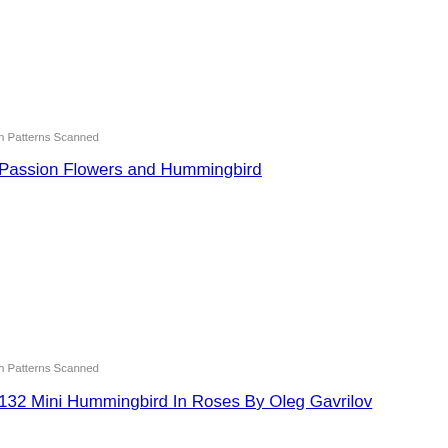h Patterns Scanned
Passion Flowers and Hummingbird
h Patterns Scanned
132 Mini Hummingbird In Roses By Oleg Gavrilov